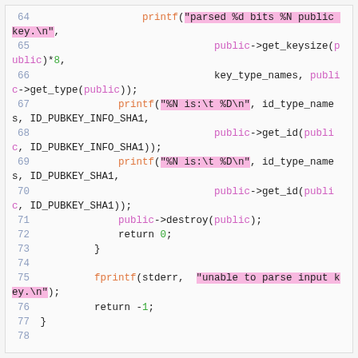[Figure (screenshot): Source code snippet (C/C++) showing lines 64-78 with syntax highlighting. Functions printf and fprintf in orange, string literals highlighted in pink/magenta background, 'public' keyword in magenta/pink, numeric literals in green.]